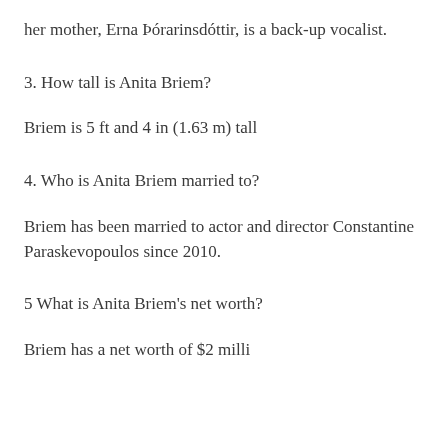her mother, Erna Þórarinsdóttir, is a back-up vocalist.
3. How tall is Anita Briem?
Briem is 5 ft and 4 in (1.63 m) tall
4. Who is Anita Briem married to?
Briem has been married to actor and director Constantine Paraskevopoulos since 2010.
5 What is Anita Briem's net worth?
Briem has a net worth of $2 million…